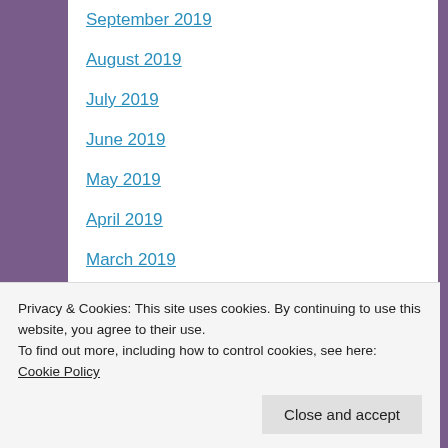September 2019
August 2019
July 2019
June 2019
May 2019
April 2019
March 2019
February 2019
January 2019
December 2018
November 2018
Privacy & Cookies: This site uses cookies. By continuing to use this website, you agree to their use.
To find out more, including how to control cookies, see here: Cookie Policy
Close and accept